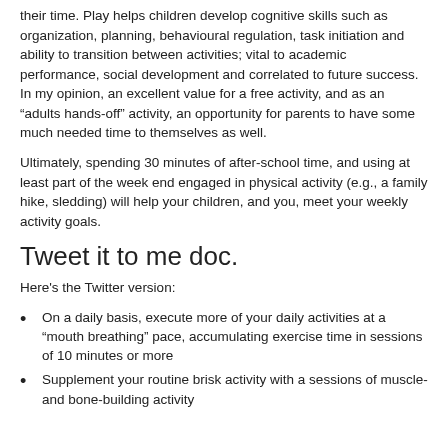their time. Play helps children develop cognitive skills such as organization, planning, behavioural regulation, task initiation and ability to transition between activities; vital to academic performance, social development and correlated to future success. In my opinion, an excellent value for a free activity, and as an "adults hands-off" activity, an opportunity for parents to have some much needed time to themselves as well.
Ultimately, spending 30 minutes of after-school time, and using at least part of the week end engaged in physical activity (e.g., a family hike, sledding) will help your children, and you, meet your weekly activity goals.
Tweet it to me doc.
Here's the Twitter version:
On a daily basis, execute more of your daily activities at a "mouth breathing" pace, accumulating exercise time in sessions of 10 minutes or more
Supplement your routine brisk activity with a sessions of muscle- and bone-building activity